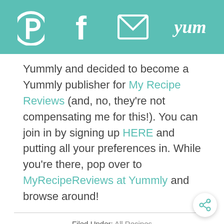[Pinterest icon] [Facebook icon] [Email icon] Yum
Yummly and decided to become a Yummly publisher for My Recipe Reviews (and, no, they're not compensating me for this!).  You can join in by signing up HERE and putting all your preferences in.  While you're there, pop over to MyRecipeReviews at Yummly and browse around!
Filed Under: All Recipes
Tagged With: yum, Yummly